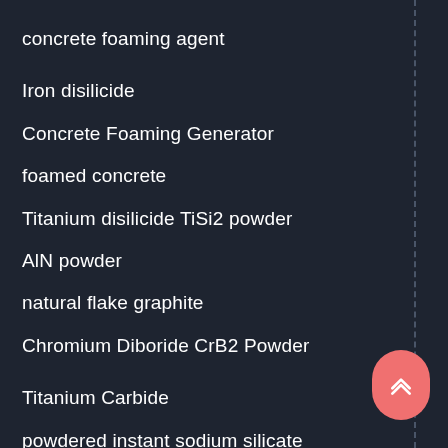concrete foaming agent
Iron disilicide
Concrete Foaming Generator
foamed concrete
Titanium disilicide TiSi2 powder
AlN powder
natural flake graphite
Chromium Diboride CrB2 Powder
Titanium Carbide
powdered instant sodium silicate
concrete water reducer
Vanadium Nitride VN